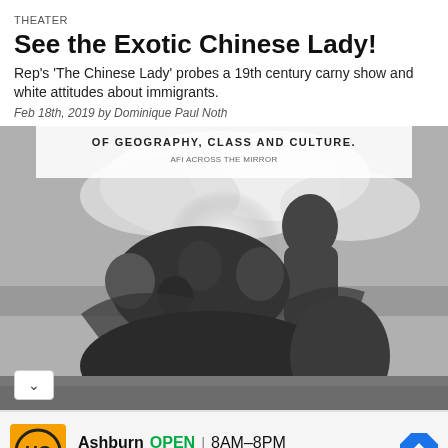THEATER
See the Exotic Chinese Lady!
Rep's 'The Chinese Lady' probes a 19th century carny show and white attitudes about immigrants.
Feb 18th, 2019 by Dominique Paul Noth
[Figure (photo): Black and white photo of a group of people huddled together on a beach, embracing. Overlay text reads 'OF GEOGRAPHY, CLASS AND CULTURE.' with AFI attribution below.]
[Figure (infographic): Advertisement for HC store in Ashburn. Yellow square logo with HC text. Shows 'Ashburn OPEN 8AM-8PM' and '44110 Ashburn Shopping Plaza 1.' with a blue navigation arrow icon.]